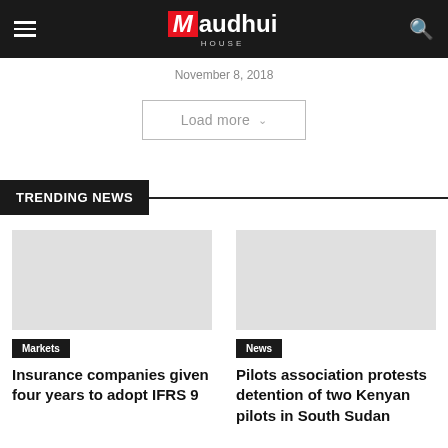Maudhui House
November 8, 2018
Load more
TRENDING NEWS
Markets
Insurance companies given four years to adopt IFRS 9
News
Pilots association protests detention of two Kenyan pilots in South Sudan